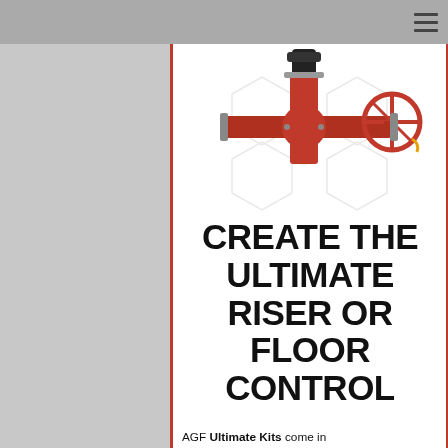[Figure (photo): Red fire sprinkler riser valve assembly with black actuator on top and red handwheel on the right side, displayed against white background with light hexagonal pattern overlay]
CREATE THE ULTIMATE RISER OR FLOOR CONTROL
AGF Ultimate Kits come in